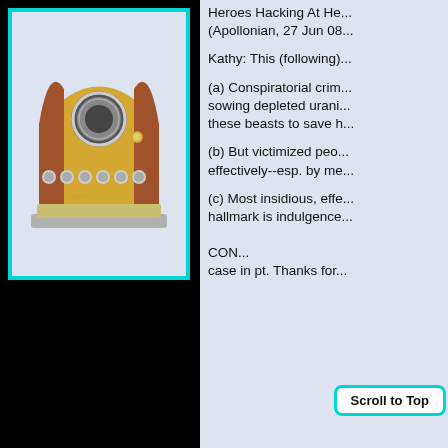[Figure (photo): Vintage radio or audio device with brass/gold front panel, round speaker grille, silver knobs, and curved copper/wood sides, displayed against a light blue-grey background, framed with a cyan/teal border.]
Heroes Hacking At He... (Apollonian, 27 Jun 08...
Kathy: This (following)...
(a) Conspiratorial crim... sowing depleted urani... these beasts to save h...
(b) But victimized peo... effectively--esp. by me...
(c) Most insidious, effe... hallmark is indulgence...
CON... case in pt. Thanks for...